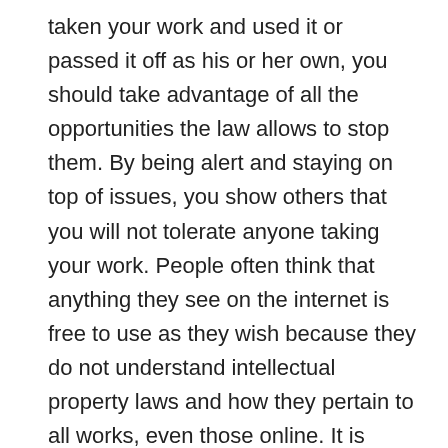taken your work and used it or passed it off as his or her own, you should take advantage of all the opportunities the law allows to stop them. By being alert and staying on top of issues, you show others that you will not tolerate anyone taking your work. People often think that anything they see on the internet is free to use as they wish because they do not understand intellectual property laws and how they pertain to all works, even those online. It is generally up to you to make sure people know your work is protected intellectual property.